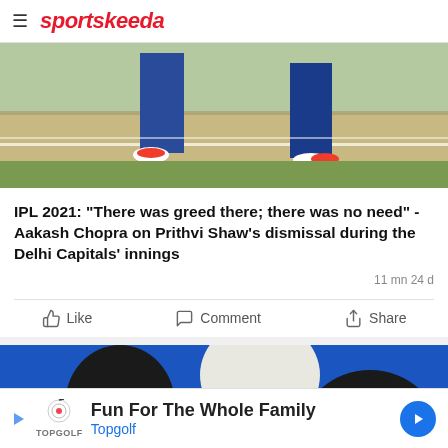sportskeeda
[Figure (photo): Cricket match photo showing players' legs and feet on a cricket ground with green grass]
IPL 2021: "There was greed there; there was no need" - Aakash Chopra on Prithvi Shaw's dismissal during the Delhi Capitals' innings
11 mn 24 d
[Figure (photo): IPL broadcast image showing two people in the foreground with blue background, VIVO IPL logo visible]
Fun For The Whole Family Topgolf